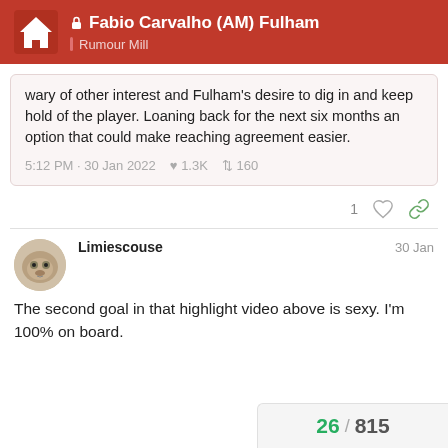Fabio Carvalho (AM) Fulham — Rumour Mill
wary of other interest and Fulham's desire to dig in and keep hold of the player. Loaning back for the next six months an option that could make reaching agreement easier.
5:12 PM - 30 Jan 2022  ♥ 1.3K  ↺ 160
1
Limiescouse
30 Jan
The second goal in that highlight video above is sexy. I'm 100% on board.
26 / 815